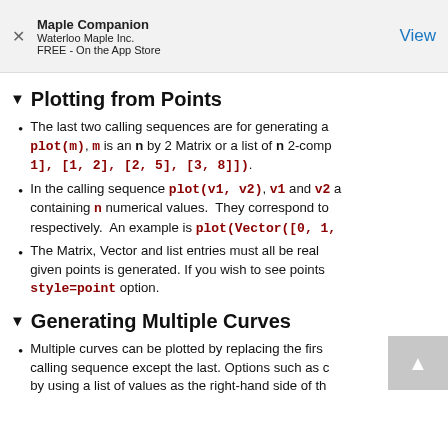Maple Companion
Waterloo Maple Inc.
FREE - On the App Store
Plotting from Points
The last two calling sequences are for generating a plot(m), m is an n by 2 Matrix or a list of n 2-comp 1], [1, 2], [2, 5], [3, 8]]).
In the calling sequence plot(v1, v2), v1 and v2 a containing n numerical values. They correspond to respectively. An example is plot(Vector([0, 1,
The Matrix, Vector and list entries must all be real given points is generated. If you wish to see points style=point option.
Generating Multiple Curves
Multiple curves can be plotted by replacing the firs calling sequence except the last. Options such as c by using a list of values as the right-hand side of th